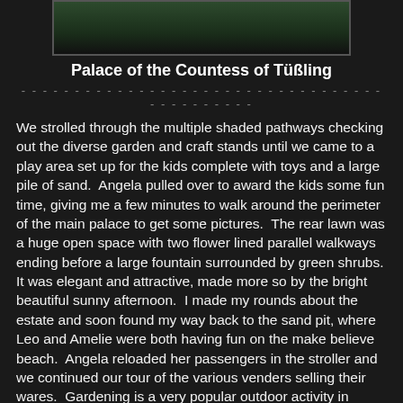[Figure (photo): Partial view of the Palace of the Countess of Tüßling garden area with green hedges and trees]
Palace of the Countess of Tüßling
We strolled through the multiple shaded pathways checking out the diverse garden and craft stands until we came to a play area set up for the kids complete with toys and a large pile of sand.  Angela pulled over to award the kids some fun time, giving me a few minutes to walk around the perimeter of the main palace to get some pictures.  The rear lawn was a huge open space with two flower lined parallel walkways ending before a large fountain surrounded by green shrubs.  It was elegant and attractive, made more so by the bright beautiful sunny afternoon.  I made my rounds about the estate and soon found my way back to the sand pit, where Leo and Amelie were both having fun on the make believe beach.  Angela reloaded her passengers in the stroller and we continued our tour of the various venders selling their wares.  Gardening is a very popular outdoor activity in Germany, a hobby almost everyone could afford to indulge, to some extent.  Almost every home has plantings on display within colorful gardens, window boxes, or large ceramic